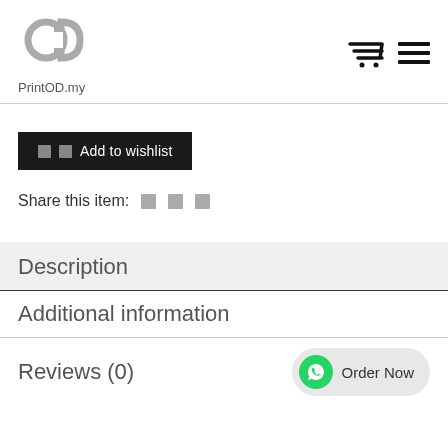[Figure (logo): PrintOD.my logo with stylized overlapping P and D letters in gray]
PrintOD.my
Add to wishlist
Share this item:
Description
Additional information
Reviews (0)
Order Now